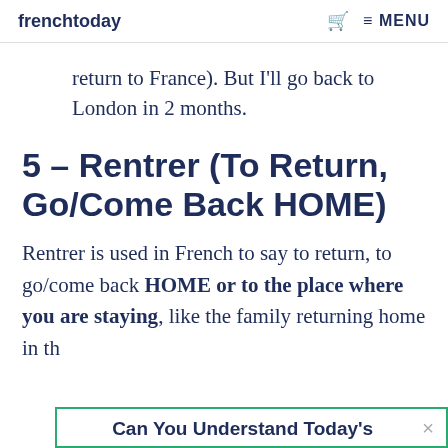frenchtoday   🛒  ≡ MENU
return to France). But I'll go back to London in 2 months.
5 – Rentrer (To Return, Go/Come Back HOME)
Rentrer is used in French to say to return, to go/come back HOME or to the place where you are staying, like the family returning home in th
Can You Understand Today's